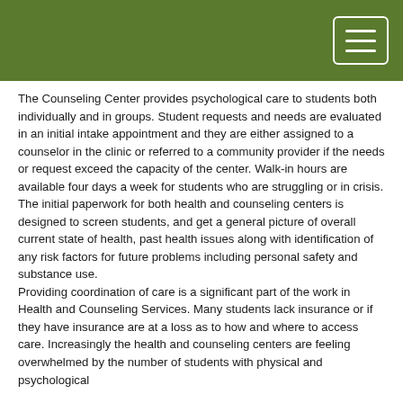The Counseling Center provides psychological care to students both individually and in groups. Student requests and needs are evaluated in an initial intake appointment and they are either assigned to a counselor in the clinic or referred to a community provider if the needs or request exceed the capacity of the center. Walk-in hours are available four days a week for students who are struggling or in crisis.
The initial paperwork for both health and counseling centers is designed to screen students, and get a general picture of overall current state of health, past health issues along with identification of any risk factors for future problems including personal safety and substance use.
Providing coordination of care is a significant part of the work in Health and Counseling Services. Many students lack insurance or if they have insurance are at a loss as to how and where to access care. Increasingly the health and counseling centers are feeling overwhelmed by the number of students with physical and psychological